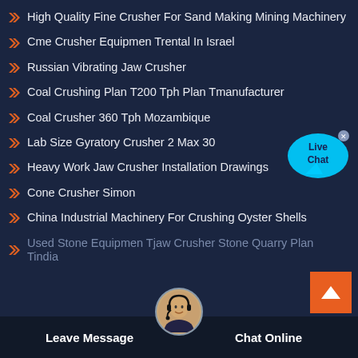High Quality Fine Crusher For Sand Making Mining Machinery
Cme Crusher Equipmen Trental In Israel
Russian Vibrating Jaw Crusher
Coal Crushing Plan T200 Tph Plan Tmanufacturer
Coal Crusher 360 Tph Mozambique
Lab Size Gyratory Crusher 2 Max 30
Heavy Work Jaw Crusher Installation Drawings
Cone Crusher Simon
China Industrial Machinery For Crushing Oyster Shells
Used Stone Equipmen Tjaw Crusher Stone Quarry Plan Tindia
Leave Message
Chat Online